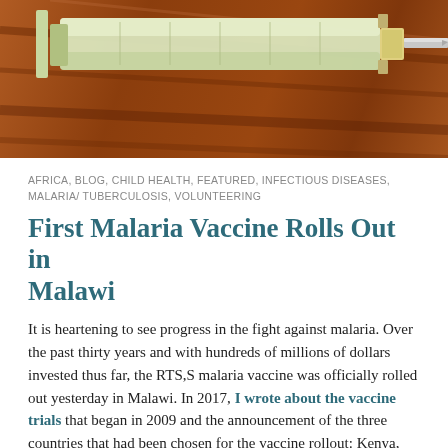[Figure (illustration): Illustration of a medical syringe/needle close-up against a warm brown/wood-tone background, showing the tip and barrel of the syringe in detail.]
AFRICA, BLOG, CHILD HEALTH, FEATURED, INFECTIOUS DISEASES, MALARIA/ TUBERCULOSIS, VOLUNTEERING
First Malaria Vaccine Rolls Out in Malawi
It is heartening to see progress in the fight against malaria. Over the past thirty years and with hundreds of millions of dollars invested thus far, the RTS,S malaria vaccine was officially rolled out yesterday in Malawi. In 2017, I wrote about the vaccine trials that began in 2009 and the announcement of the three countries that had been chosen for the vaccine rollout: Kenya, Malawi, and Ghana. In clinical trials, the vaccine was found to